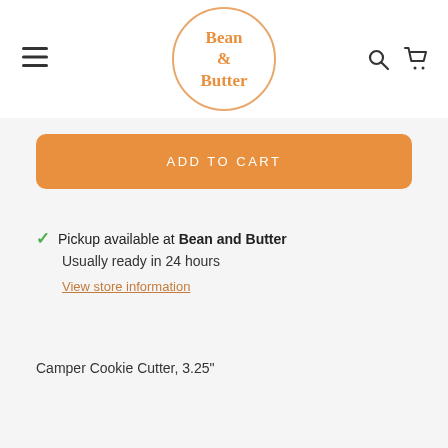Bean & Butter (logo)
ADD TO CART
Pickup available at Bean and Butter
Usually ready in 24 hours
View store information
Camper Cookie Cutter, 3.25"
Size: 3.25" x 3.25"